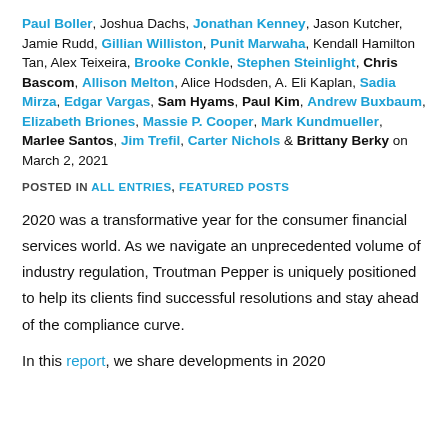Paul Boller, Joshua Dachs, Jonathan Kenney, Jason Kutcher, Jamie Rudd, Gillian Williston, Punit Marwaha, Kendall Hamilton Tan, Alex Teixeira, Brooke Conkle, Stephen Steinlight, Chris Bascom, Allison Melton, Alice Hodsden, A. Eli Kaplan, Sadia Mirza, Edgar Vargas, Sam Hyams, Paul Kim, Andrew Buxbaum, Elizabeth Briones, Massie P. Cooper, Mark Kundmueller, Marlee Santos, Jim Trefil, Carter Nichols & Brittany Berky on March 2, 2021
POSTED IN ALL ENTRIES, FEATURED POSTS
2020 was a transformative year for the consumer financial services world. As we navigate an unprecedented volume of industry regulation, Troutman Pepper is uniquely positioned to help its clients find successful resolutions and stay ahead of the compliance curve.
In this report, we share developments in 2020